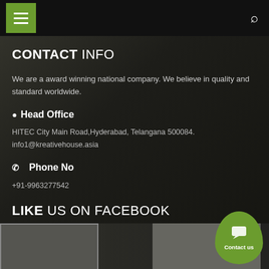Navigation bar with hamburger menu and search icon
CONTACT INFO
We are a award winning national company. We believe in quality and standard worldwide.
Head Office
HITEC City Main Road,Hyderabad, Telangana 500084.
info1@kreativehouse.asia
Phone No
+91-9963277542
LIKE US ON FACEBOOK
[Figure (other): Contact us button bubble (green rounded shape with chat icon and text 'Contact us')]